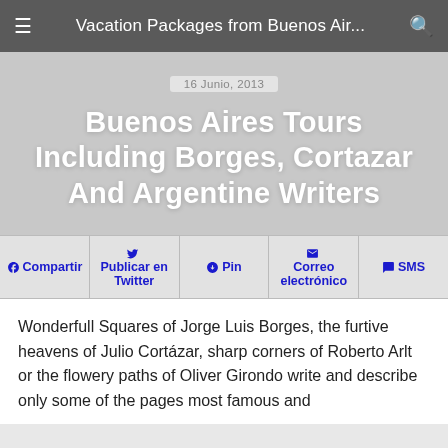Vacation Packages from Buenos Air...
16 Junio, 2013
Buenos Aires Tours Including Borges, Cortazar And Argentine Writers
[Figure (infographic): Social sharing buttons row: Compartir (Facebook), Publicar en Twitter, Pin (Pinterest), Correo electrónico (Email), SMS]
Wonderfull Squares of Jorge Luis Borges, the furtive heavens of Julio Cortázar, sharp corners of Roberto Arlt or the flowery paths of Oliver Girondo write and describe only some of the pages most famous and